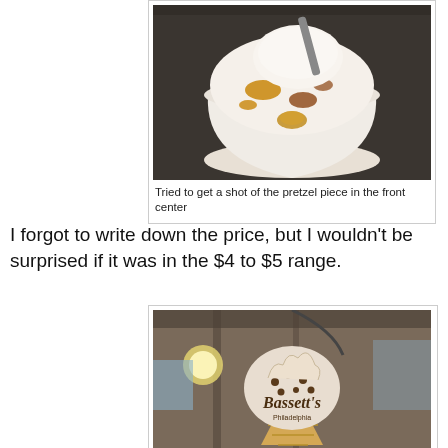[Figure (photo): Photo of a cup of ice cream with pretzel pieces and caramel sauce, viewed from above]
Tried to get a shot of the pretzel piece in the front center
I forgot to write down the price, but I wouldn't be surprised if it was in the $4 to $5 range.
[Figure (photo): Photo of a Bassett's Philadelphia ice cream shop sign shaped like an ice cream scoop, hanging from the ceiling of a market]